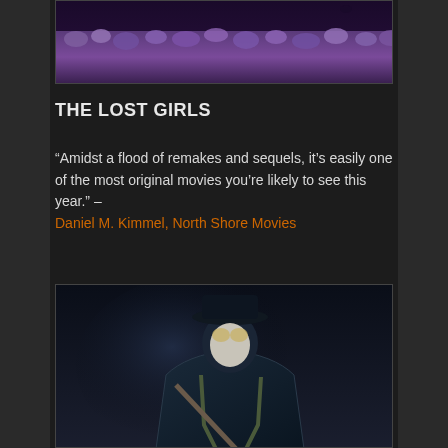[Figure (photo): Top image showing purple/lavender flowers in a dark scene]
THE LOST GIRLS
“Amidst a flood of remakes and sequels, it’s easily one of the most original movies you’re likely to see this year.” – Daniel M. Kimmel, North Shore Movies
[Figure (photo): Bottom image showing a dark figure wearing a hat, goggles, and mask with leather clothing and equipment]